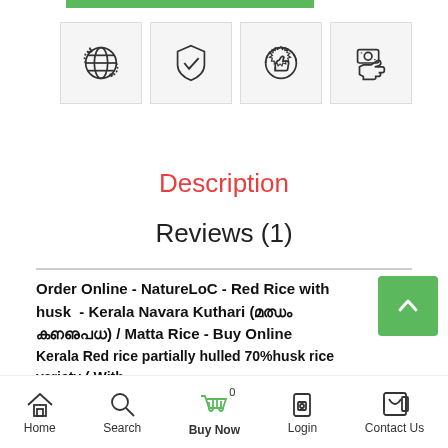[Figure (illustration): Green progress/status bar at top]
[Figure (illustration): Row of four icon boxes: globe with clock, shield with checkmark, quality badge with thumbs up, money/payment icon]
Description
Reviews (1)
Order Online - NatureLoC - Red Rice with husk - Kerala Navara Kuthari (നവര കുതരി) / Matta Rice - Buy Online
Kerala Red rice partially hulled 70%husk rice variety ( With
Extra husk for Health reasons)...
Red rice is a variety of rice that is colored red due to its anthocyanin...
Home   Search   Buy Now 0   Login   Contact Us